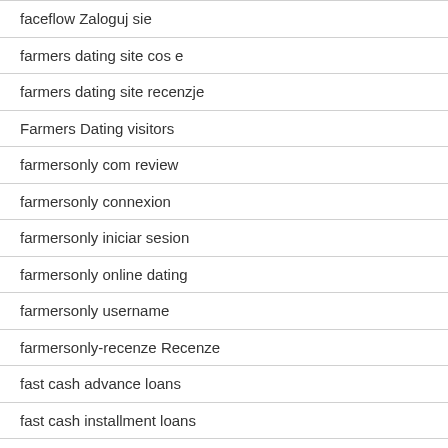faceflow Zaloguj sie
farmers dating site cos e
farmers dating site recenzje
Farmers Dating visitors
farmersonly com review
farmersonly connexion
farmersonly iniciar sesion
farmersonly online dating
farmersonly username
farmersonly-recenze Recenze
fast cash advance loans
fast cash installment loans
fast cash loan philippines